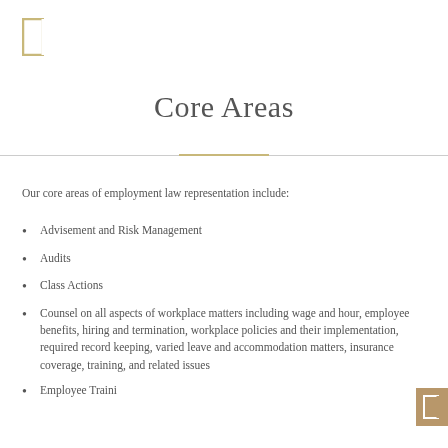[Figure (illustration): Small rectangular bracket icon in gold/tan color in the top-left corner]
Core Areas
Our core areas of employment law representation include:
Advisement and Risk Management
Audits
Class Actions
Counsel on all aspects of workplace matters including wage and hour, employee benefits, hiring and termination, workplace policies and their implementation, required record keeping, varied leave and accommodation matters, insurance coverage, training, and related issues
Employee Training
[Figure (illustration): Small rectangular bracket icon in gold/brown color in the bottom-right corner]